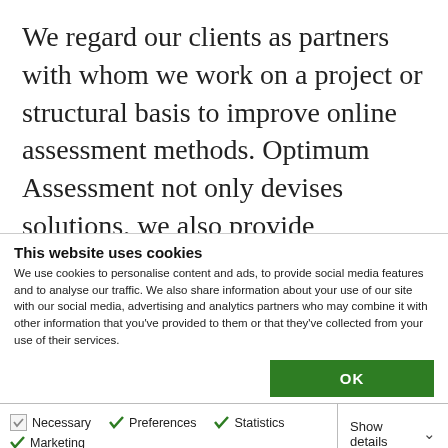We regard our clients as partners with whom we work on a project or structural basis to improve online assessment methods. Optimum Assessment not only devises solutions, we also provide implementation and support services. We take as much work off your hands as necessary. Our concrete approach has
This website uses cookies
We use cookies to personalise content and ads, to provide social media features and to analyse our traffic. We also share information about your use of our site with our social media, advertising and analytics partners who may combine it with other information that you've provided to them or that they've collected from your use of their services.
OK
Necessary   Preferences   Statistics   Marketing   Show details